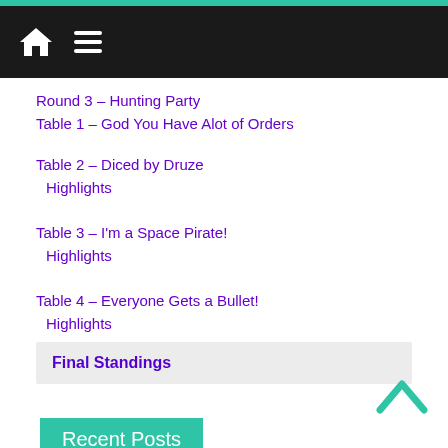Navigation bar with home and menu icons
Round 3 – Hunting Party
Table 1 – God You Have Alot of Orders
Table 2 – Diced by Druze
Highlights
Table 3 – I'm a Space Pirate!
Highlights
Table 4 – Everyone Gets a Bullet!
Highlights
Final Standings
Recent Posts
Riot Against the ISS Machine
Riot Gearr